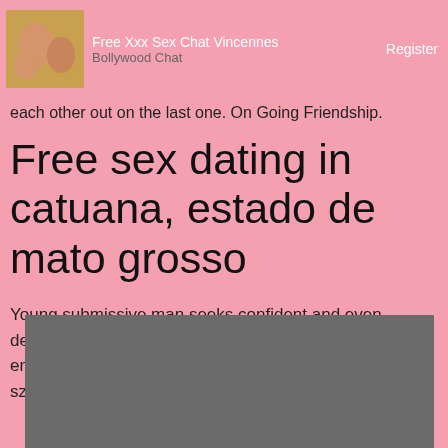Free Xxx Sex Chat Vincennes   Bollywood Chat   Register
each other out on the last one. On Going Friendship.
Free sex dating in catuana, estado de mato grosso
Young submissive man seeks confident and even demanding princess to use me. A mere glance is not enough, adult dating and anonymous online chat in szeged.
[Figure (photo): Gray placeholder photo block at bottom of page]